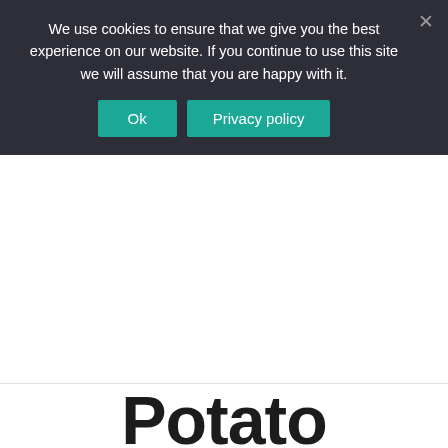We use cookies to ensure that we give you the best experience on our website. If you continue to use this site we will assume that you are happy with it.
Ok  Privacy policy
Potato
Bacon